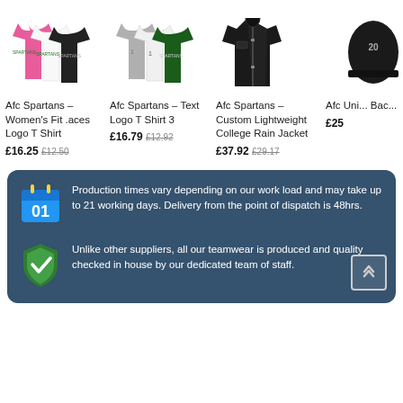[Figure (photo): Product listing: Afc Spartans Women's Fit Laces Logo T Shirt in pink, white, and black]
Afc Spartans – Women's Fit .aces Logo T Shirt
£16.25  £12.50
[Figure (photo): Product listing: Afc Spartans Text Logo T Shirt 3 in grey, white, and green]
Afc Spartans – Text Logo T Shirt 3
£16.79  £12.92
[Figure (photo): Product listing: Afc Spartans Custom Lightweight College Rain Jacket in black]
Afc Spartans – Custom Lightweight College Rain Jacket
£37.92  £29.17
[Figure (photo): Partially visible product: Afc Uni... Bac... priced £25+]
Afc Uni... Bac...
£25
Production times vary depending on our work load and may take up to 21 working days. Delivery from the point of dispatch is 48hrs.
Unlike other suppliers, all our teamwear is produced and quality checked in house by our dedicated team of staff.